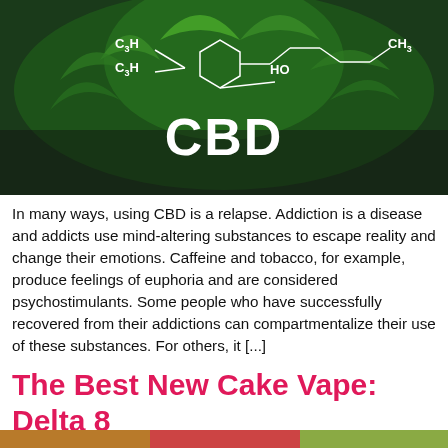[Figure (photo): Cannabis plant with CBD chemical structure overlay showing C3H, C3H, HO, CH3 groups and 'CBD' text in white on green plant background]
In many ways, using CBD is a relapse. Addiction is a disease and addicts use mind-altering substances to escape reality and change their emotions. Caffeine and tobacco, for example, produce feelings of euphoria and are considered psychostimulants. Some people who have successfully recovered from their addictions can compartmentalize their use of these substances. For others, it [...]
The Best New Cake Vape: Delta 8
[Figure (photo): Partial image strip at bottom of page, appears to show colorful product images]